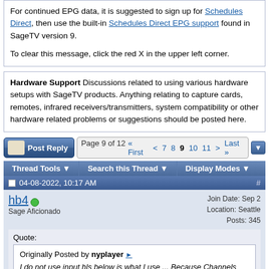For continued EPG data, it is suggested to sign up for Schedules Direct, then use the built-in Schedules Direct EPG support found in SageTV version 9.

To clear this message, click the red X in the upper left corner.
Hardware Support Discussions related to using various hardware setups with SageTV products. Anything relating to capture cards, remotes, infrared receivers/transmitters, system compatibility or other hardware related problems or suggestions should be posted here.
Post Reply  Page 9 of 12  « First  <  7  8  9  10  11  >  Last »
Thread Tools ▼   Search this Thread ▼   Display Modes ▼
04-08-2022, 10:17 AM
hb4
Sage Aficionado
Join Date: Sep 2
Location: Seattle
Posts: 345
Quote:
Originally Posted by nyplayer
I do not use input hls below is what I use ... Because Channels creates mpg. I also set consumer.raw.upload_id_enabled=true to false ... consumer.ffmpeg.upload_id_enabled=true to false